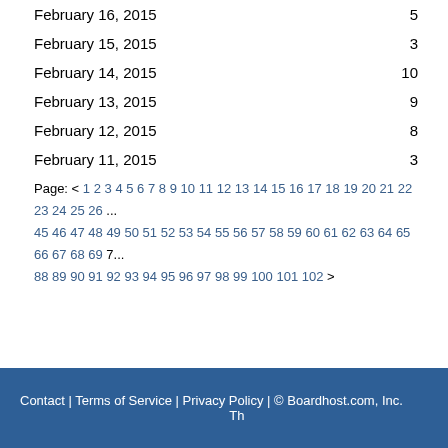February 16, 2015  5
February 15, 2015  3
February 14, 2015  10
February 13, 2015  9
February 12, 2015  8
February 11, 2015  3
Page: < 1 2 3 4 5 6 7 8 9 10 11 12 13 14 15 16 17 18 19 20 21 22 23 24 25 26 ... 45 46 47 48 49 50 51 52 53 54 55 56 57 58 59 60 61 62 63 64 65 66 67 68 69 7... 88 89 90 91 92 93 94 95 96 97 98 99 100 101 102 >
Contact | Terms of Service | Privacy Policy | © Boardhost.com, Inc.   Th...